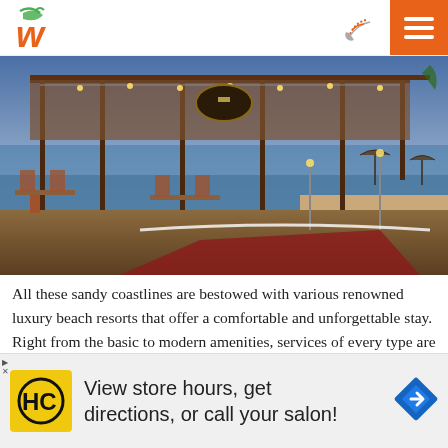[Figure (logo): Stylized 'w' letter logo in orange and green colors for a travel website]
[Figure (photo): A luxury beach resort restaurant with wooden canopy structure, string lights, wicker furniture, and ocean view at dusk]
All these sandy coastlines are bestowed with various renowned luxury beach resorts that offer a comfortable and unforgettable stay. Right from the basic to modern amenities, services of every type are rendered with a sweet smile. The hospitality of the resorts adds a charm to the tour.
[Figure (screenshot): Advertisement banner: HC logo with text 'View store hours, get directions, or call your salon!' and navigation arrow icon]